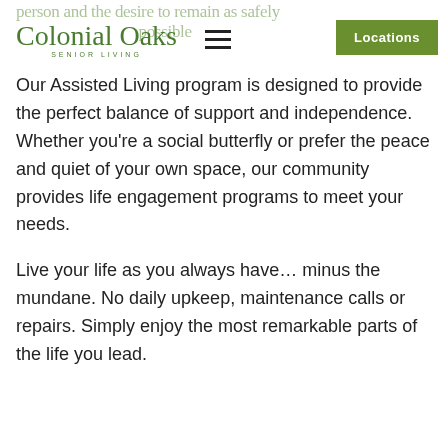Colonial Oaks Senior Living — Locations
Our Assisted Living program is designed to provide the perfect balance of support and independence. Whether you're a social butterfly or prefer the peace and quiet of your own space, our community provides life engagement programs to meet your needs.
Live your life as you always have… minus the mundane. No daily upkeep, maintenance calls or repairs. Simply enjoy the most remarkable parts of the life you lead.